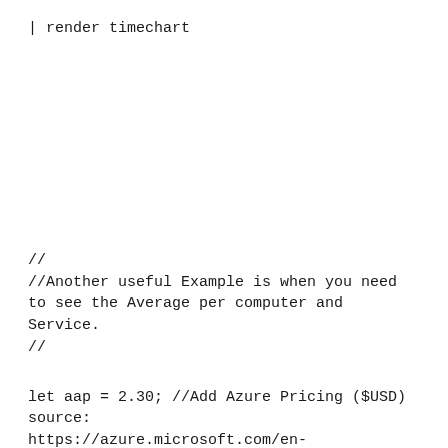| render timechart
//
//Another useful Example is when you need to see the Average per computer and Service.
//
let aap = 2.30; //Add Azure Pricing ($USD) source:
https://azure.microsoft.com/en-